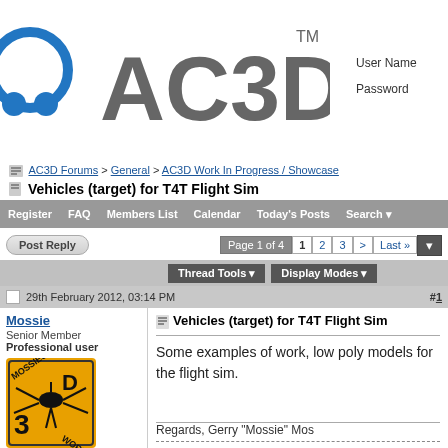[Figure (logo): AC3D software logo with blue circular icon and gray AC3D text with TM mark]
User Name
Password
AC3D Forums > General > AC3D Work In Progress / Showcase
Vehicles (target) for T4T Flight Sim
Register  FAQ  Members List  Calendar  Today's Posts  Search
Post Reply | Page 1 of 4  1  2  3  >  Last »
Thread Tools  Display Modes
29th February 2012, 03:14 PM  #1
Mossie
Senior Member
Professional user
[Figure (illustration): Orange square avatar with a mosquito/fly insect graphic and text MOSSIES 3D WORKS]
Join Date: Dec 2003
Location: UK
Posts: 369
Vehicles (target) for T4T Flight Sim
Some examples of work, low poly models for the flight sim.
Regards, Gerry "Mossie" Mos